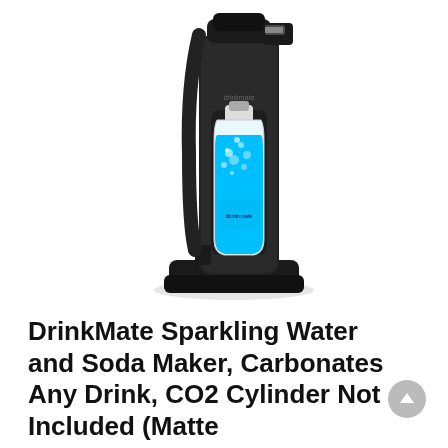[Figure (photo): DrinkMate sparkling water and soda maker machine in matte black with a clear bottle filled with bright blue carbonated liquid attached to the front.]
DrinkMate Sparkling Water and Soda Maker, Carbonates Any Drink, CO2 Cylinder Not Included (Matte...